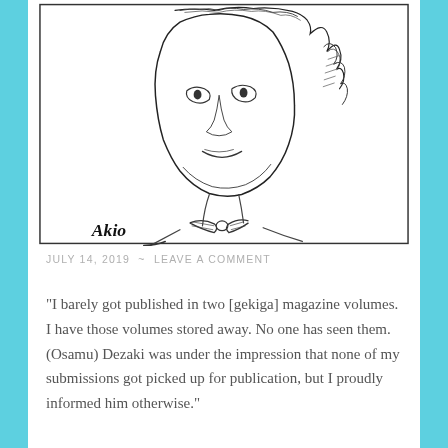[Figure (illustration): A pencil sketch illustration of a person's face and upper body, drawn in a loose, expressive style. The figure has tousled hair and appears to be wearing a bow tie or necktie. Signed 'Akio' in the lower left corner of the bordered illustration.]
JULY 14, 2019  ~  LEAVE A COMMENT
"I barely got published in two [gekiga] magazine volumes. I have those volumes stored away. No one has seen them. (Osamu) Dezaki was under the impression that none of my submissions got picked up for publication, but I proudly informed him otherwise."